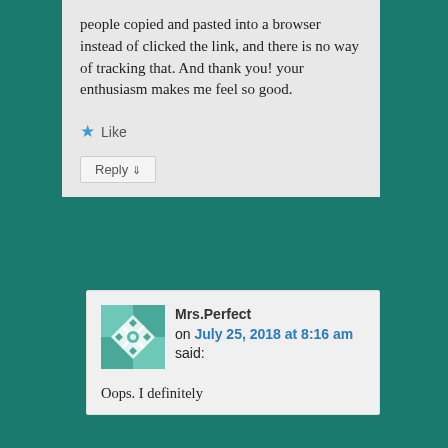people copied and pasted into a browser instead of clicked the link, and there is no way of tracking that. And thank you! your enthusiasm makes me feel so good.
★ Like
Reply ↓
Mrs.Perfect on July 25, 2018 at 8:16 am said:
Oops. I definitely